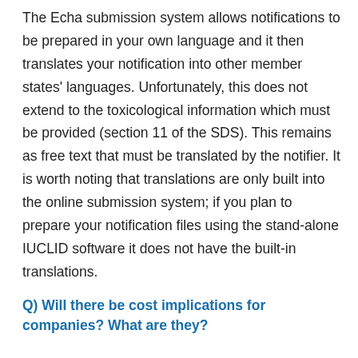The Echa submission system allows notifications to be prepared in your own language and it then translates your notification into other member states' languages. Unfortunately, this does not extend to the toxicological information which must be provided (section 11 of the SDS). This remains as free text that must be translated by the notifier. It is worth noting that translations are only built into the online submission system; if you plan to prepare your notification files using the stand-alone IUCLID software it does not have the built-in translations.
Q) Will there be cost implications for companies? What are they?